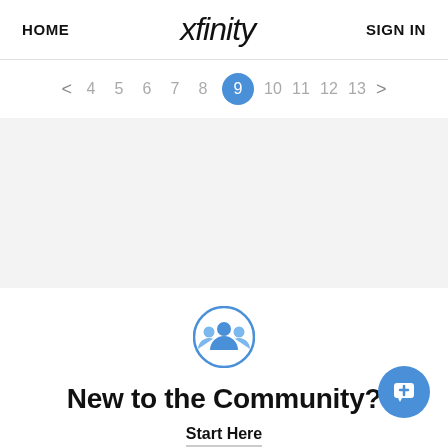HOME  xfinity  SIGN IN
< 4 5 6 7 8 9 10 11 12 13 >
[Figure (illustration): Community/group icon: blue circle with three white silhouetted people figures]
New to the Community?
Start Here